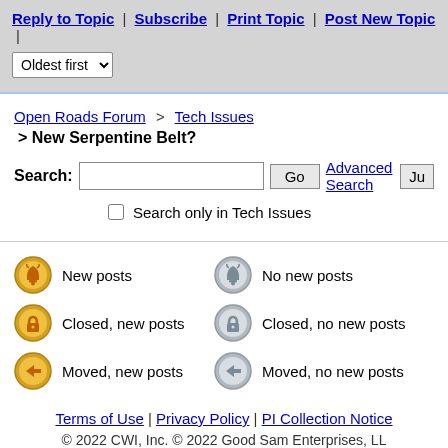Reply to Topic | Subscribe | Print Topic | Post New Topic | Oldest first
Open Roads Forum > Tech Issues > New Serpentine Belt?
Search: [input] Go  Advanced Search  Ju
Search only in Tech Issues
New posts | No new posts | Closed, new posts | Closed, no new posts | Moved, new posts | Moved, no new posts
Terms of Use | Privacy Policy | PI Collection Notice
© 2022 CWI, Inc. © 2022 Good Sam Enterprises, LL